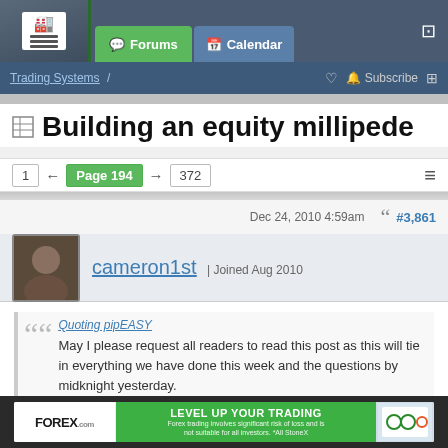Forums | Calendar
Trading Systems / | Subscribe
Building an equity millipede
1 ← Page 194 → 372
Dec 24, 2010 4:59am  #3,861
cameron1st | Joined Aug 2010
Quoting pipEASY
May I please request all readers to read this post as this will tie in everything we have done this week and the questions by midknight yesterday.
Dear Graeme,
[Figure (screenshot): Forex.com advertisement banner: LEVEL UP YOUR TRADING. Forex trading involves significant risk of loss and is not suitable for all investors. *All StoneX]